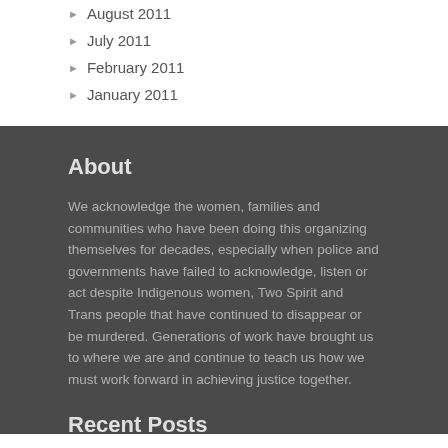August 2011
July 2011
February 2011
January 2011
About
We acknowledge the women, families and communities who have been doing this organizing themselves for decades, especially when police and governments have failed to acknowledge, listen or act despite Indigenous women, Two Spirit and Trans people that have continued to disappear or be murdered. Generations of work have brought us to where we are and continue to teach us how we must work forward in achieving justice together.
Recent Posts